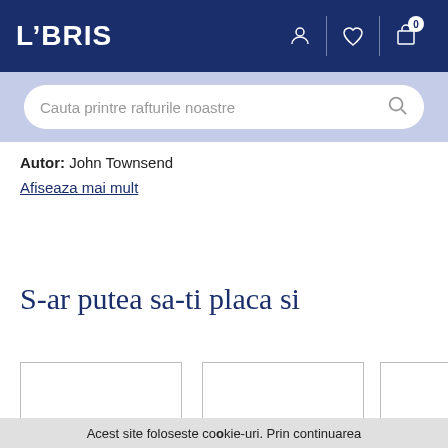[Figure (screenshot): LIBRIS website header with dark navy background, logo on left, user/heart/cart icons on right with badge showing 0]
[Figure (screenshot): Search bar with placeholder text 'Cauta printre rafturile noastre' on light blue background]
Autor: John Townsend
Afiseaza mai mult
S-ar putea sa-ti placa si
[Figure (other): Three partially visible product card boxes at bottom of page]
Acest site foloseste cookie-uri. Prin continuarea